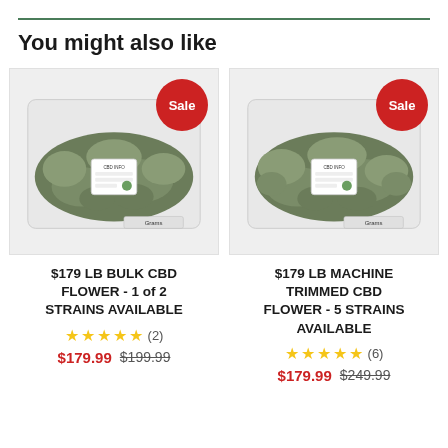You might also like
[Figure (photo): Bag of bulk CBD flower with a red Sale badge]
$179 LB BULK CBD FLOWER - 1 of 2 STRAINS AVAILABLE
★★★★★ (2)
$179.99  $199.99
[Figure (photo): Bag of machine trimmed CBD flower with a red Sale badge]
$179 LB MACHINE TRIMMED CBD FLOWER - 5 STRAINS AVAILABLE
★★★★★ (6)
$179.99  $249.99